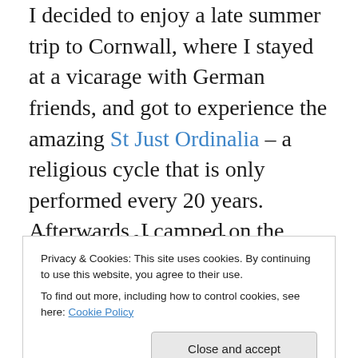I decided to enjoy a late summer trip to Cornwall, where I stayed at a vicarage with German friends, and got to experience the amazing St Just Ordinalia – a religious cycle that is only performed every 20 years. Afterwards, I camped on the Lizard peninsula, and developed lighthouse awareness.
I have loved being able to see films at the cinema again. The blockbusters I saw left me cold, unfortunately, but Nomadland (rereleased after its Oscar triumph), and The Green Knight were amazing – the latter was definitely my film of the year. Read my review of it here. Other cultural
Privacy & Cookies: This site uses cookies. By continuing to use this website, you agree to their use. To find out more, including how to control cookies, see here: Cookie Policy
Lymington. It's also been good to hear live music again,